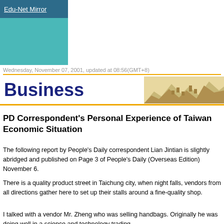Edu-Net Mirror
Wednesday, November 07, 2001, updated at 08:56(GMT+8)
Business
PD Correspondent's Personal Experience of Taiwan Economic Situation
The following report by People's Daily correspondent Lian Jintian is slightly abridged and published on Page 3 of People's Daily (Overseas Edition) November 6.
There is a quality product street in Taichung city, when night falls, vendors from all directions gather here to set up their stalls around a fine-quality shop.
I talked with a vendor Mr. Zheng who was selling handbags. Originally he was doing well in a science and technology trading